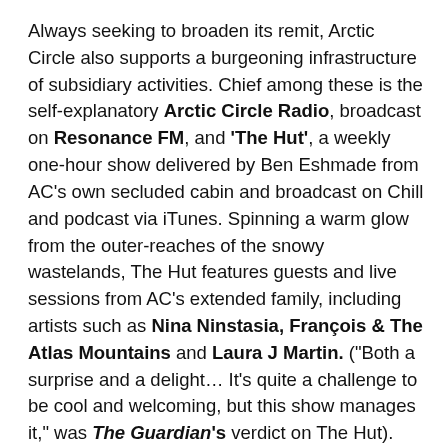Always seeking to broaden its remit, Arctic Circle also supports a burgeoning infrastructure of subsidiary activities. Chief among these is the self-explanatory Arctic Circle Radio, broadcast on Resonance FM, and 'The Hut', a weekly one-hour show delivered by Ben Eshmade from AC's own secluded cabin and broadcast on Chill and podcast via iTunes. Spinning a warm glow from the outer-reaches of the snowy wastelands, The Hut features guests and live sessions from AC's extended family, including artists such as Nina Ninstasia, François & The Atlas Mountains and Laura J Martin. ("Both a surprise and a delight… It's quite a challenge to be cool and welcoming, but this show manages it," was The Guardian's verdict on The Hut).
In a further commitment to parlaying music beyond the gig stage, Arctic Circle also releases records, notably two Fuzzy Feeling Christmas-themed compilations (via the Static Caravan and Loaf Recordings imprints,